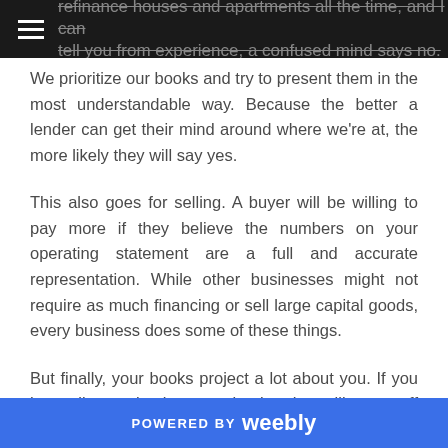refinance houses and apartments all the time, and I can tell you from experience, a confused mind says no. We prioritize our books and try to present them in the most understandable way. Because the better a lender can get their mind around where we're at, the more likely they will say yes.
This also goes for selling. A buyer will be willing to pay more if they believe the numbers on your operating statement are a full and accurate representation. While other businesses might not require as much financing or sell large capital goods, every business does some of these things.
But finally, your books project a lot about you. If you have disorganized, messy books, that will come off as you
POWERED BY weebly